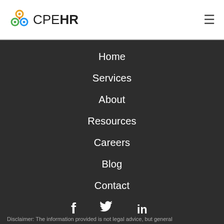[Figure (logo): CPEHR logo with colorful circular icon and text CPEHR]
Home
Services
About
Resources
Careers
Blog
Contact
[Figure (illustration): Social media icons: Facebook (f), Twitter (bird), LinkedIn (in)]
Disclaimer: The information provided is not legal advice, but general